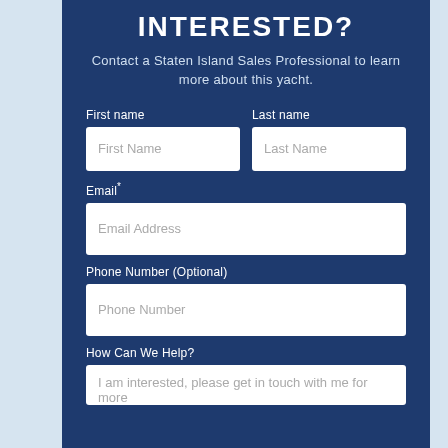INTERESTED?
Contact a Staten Island Sales Professional to learn more about this yacht.
First name
Last name
Email*
Phone Number (Optional)
How Can We Help?
I am interested, please get in touch with me for more